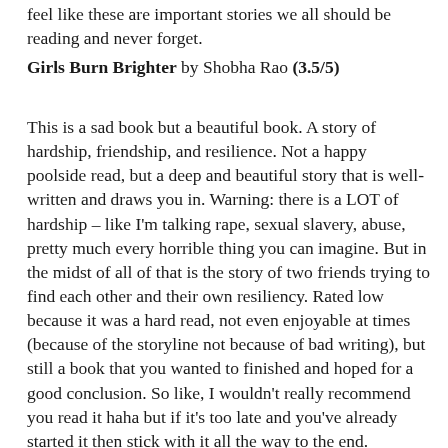feel like these are important stories we all should be reading and never forget.
Girls Burn Brighter by Shobha Rao (3.5/5)
This is a sad book but a beautiful book. A story of hardship, friendship, and resilience. Not a happy poolside read, but a deep and beautiful story that is well-written and draws you in. Warning: there is a LOT of hardship – like I'm talking rape, sexual slavery, abuse, pretty much every horrible thing you can imagine. But in the midst of all of that is the story of two friends trying to find each other and their own resiliency. Rated low because it was a hard read, not even enjoyable at times (because of the storyline not because of bad writing), but still a book that you wanted to finished and hoped for a good conclusion. So like, I wouldn't really recommend you read it haha but if it's too late and you've already started it then stick with it all the way to the end.